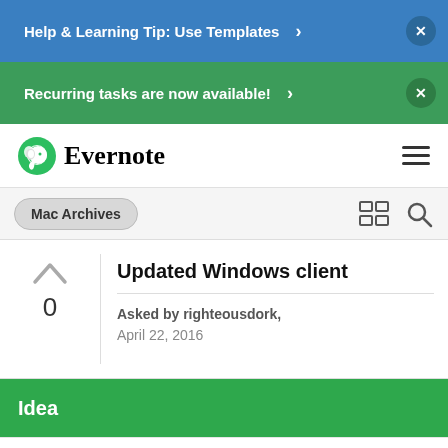Help & Learning Tip: Use Templates ›  ×
Recurring tasks are now available! ›  ×
Evernote
Mac Archives
Updated Windows client
Asked by righteousdork, April 22, 2016
Idea